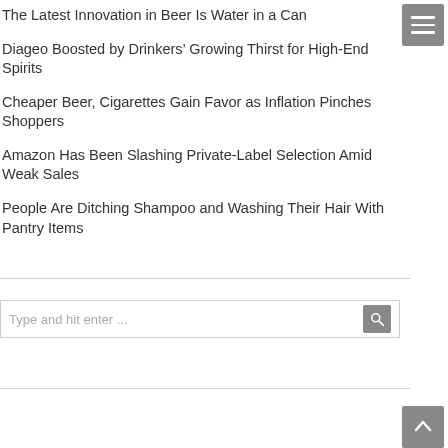The Latest Innovation in Beer Is Water in a Can
Diageo Boosted by Drinkers’ Growing Thirst for High-End Spirits
Cheaper Beer, Cigarettes Gain Favor as Inflation Pinches Shoppers
Amazon Has Been Slashing Private-Label Selection Amid Weak Sales
People Are Ditching Shampoo and Washing Their Hair With Pantry Items
[Figure (other): Hamburger menu button (three horizontal lines on grey background)]
[Figure (other): Search box with placeholder text 'Type and hit enter ...' and a search icon button on the right]
[Figure (other): Scroll-to-top button (upward arrow on grey background)]